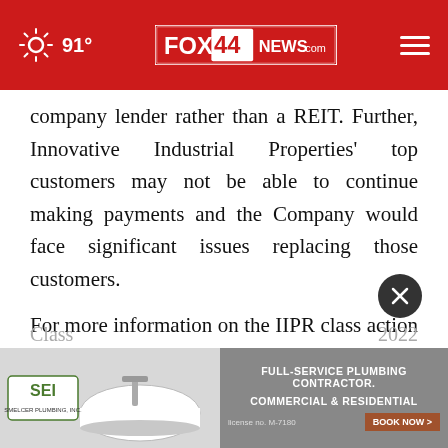91° FOX 44 NEWS.com
company lender rather than a REIT. Further, Innovative Industrial Properties' top customers may not be able to continue making payments and the Company would face significant issues replacing those customers.
For more information on the IIPR class action go to: https://bespc.com/cases/IIPR
Natera, Inc. (NASDAQ: NTRA)
Class ... 2022
[Figure (screenshot): Advertisement banner for SEI Smelcer Plumbing Inc showing a bathtub and full-service plumbing contractor text]